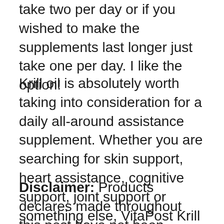take two per day or if you wished to make the supplements last longer just take one per day. I like the option!
Krill oil is absolutely worth taking into consideration for a daily all-around assistance supplement. Whether you are searching for skin support, heart assistance, cognitive support, joint support or something else, VitaPost Krill Oil Plus has something for everyone.
Disclaimer: Products declares made throughout this post have not been evaluated by the United. States Fda and also are not meant to detect, treat, treat or protect against. condition.